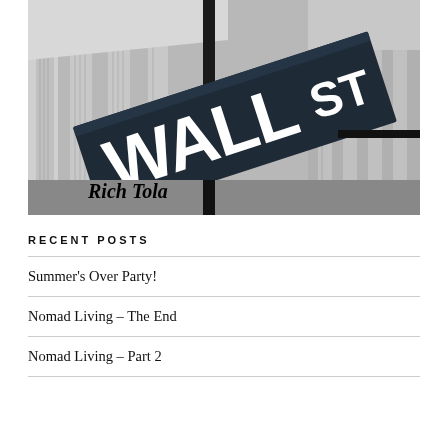[Figure (photo): Black and white photo of Wall Street sign in foreground with classical stone building columns in background. 'Rich Tola' text overlaid in black serif font at bottom left of image.]
RECENT POSTS
Summer's Over Party!
Nomad Living – The End
Nomad Living – Part 2